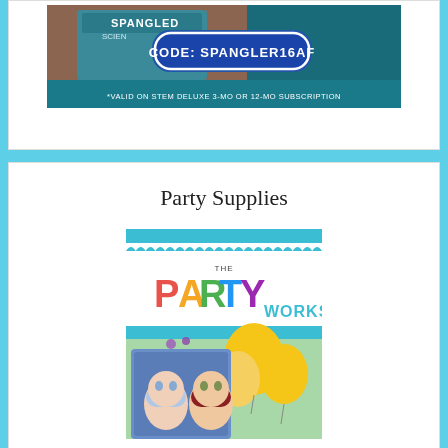[Figure (photo): Spangler Science subscription box advertisement with code SPANGLER16AF, valid on STEM Deluxe 3-mo or 12-mo subscription]
Party Supplies
[Figure (logo): The Party Works logo with colorful letters on teal banner background, followed by party supplies image featuring Frozen characters and yellow balloons]